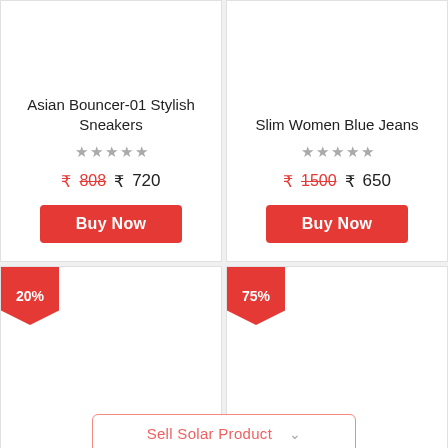Asian Bouncer-01 Stylish Sneakers
★★★★★
₹808  ₹ 720
Buy Now
Slim Women Blue Jeans
★★★★★
₹1500  ₹ 650
Buy Now
20%
75%
Sell Solar Product ∨
📞 Call +918240130941
Click 2 8240130941